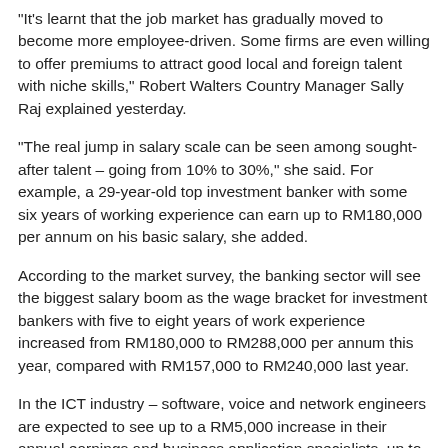“It’s learnt that the job market has gradually moved to become more employee-driven. Some firms are even willing to offer premiums to attract good local and foreign talent with niche skills,” Robert Walters Country Manager Sally Raj explained yesterday.
“The real jump in salary scale can be seen among sought-after talent – going from 10% to 30%,” she said. For example, a 29-year-old top investment banker with some six years of working experience can earn up to RM180,000 per annum on his basic salary, she added.
According to the market survey, the banking sector will see the biggest salary boom as the wage bracket for investment bankers with five to eight years of work experience increased from RM180,000 to RM288,000 per annum this year, compared with RM157,000 to RM240,000 last year.
In the ICT industry – software, voice and network engineers are expected to see up to a RM5,000 increase in their annual earnings and business application specialists, up to RM10,000 this year.